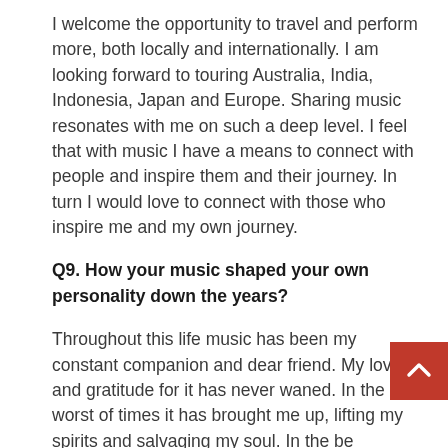I welcome the opportunity to travel and perform more, both locally and internationally. I am looking forward to touring Australia, India, Indonesia, Japan and Europe. Sharing music resonates with me on such a deep level. I feel that with music I have a means to connect with people and inspire them and their journey. In turn I would love to connect with those who inspire me and my own journey.
Q9. How your music shaped your own personality down the years?
Throughout this life music has been my constant companion and dear friend. My love and gratitude for it has never waned. In the worst of times it has brought me up, lifting my spirits and salvaging my soul. In the best of times it has been my joyful dance partner. Music is the wordless poetry of the soul. I don't know how I could have lived without this means to discover and express